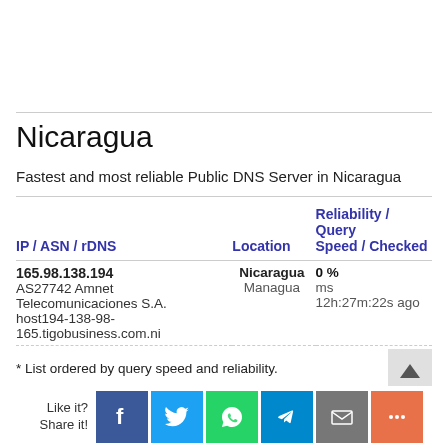Nicaragua
Fastest and most reliable Public DNS Server in Nicaragua
| IP / ASN / rDNS | Location | Reliability / Query Speed / Checked |
| --- | --- | --- |
| 165.98.138.194
AS27742 Amnet Telecomunicaciones S.A.
host194-138-98-165.tigobusiness.com.ni | Nicaragua
Managua | 0 %
ms
12h:27m:22s ago |
* List ordered by query speed and reliability.
Like it? Share it!